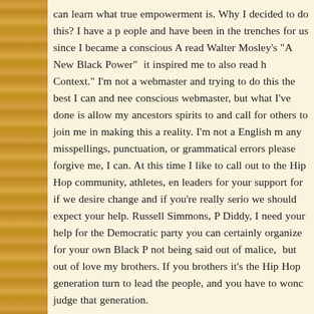can learn what true empowerment is. Why I decided to do this? I have a people and have been in the trenches for us since I became a conscious A read Walter Mosley's "A New Black Power" it inspired me to also read h Context." I'm not a webmaster and trying to do this the best I can and ne conscious webmaster, but what I've done is allow my ancestors spirits to and call for others to join me in making this a reality. I'm not a English m any misspellings, punctuation, or grammatical errors please forgive me, can. At this time I like to call out to the Hip Hop community, athletes, en leaders for your support for if we desire change and if you're really serio we should expect your help. Russell Simmons, P Diddy, I need your help for the Democratic party you can certainly organize for your own Black not being said out of malice, but out of love my brothers. If you brothers it's the Hip Hop generation turn to lead the people, and you have to wond judge that generation.
Let's make this a reality people, and I like to thank everyone in advance support. Please join our Facebook Group "African World Community" P word that we're there.